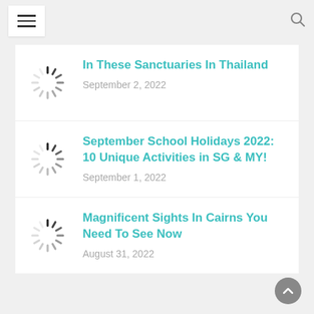☰ [menu] [search]
In These Sanctuaries In Thailand
September 2, 2022
September School Holidays 2022: 10 Unique Activities in SG & MY!
September 1, 2022
Magnificent Sights In Cairns You Need To See Now
August 31, 2022